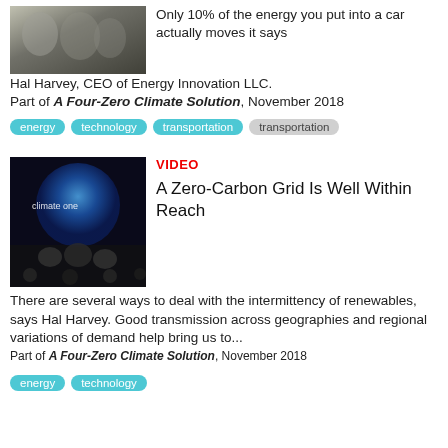[Figure (photo): Small thumbnail image of people, possibly outdoors, dark tones]
Only 10% of the energy you put into a car actually moves it says Hal Harvey, CEO of Energy Innovation LLC. Part of A Four-Zero Climate Solution, November 2018
energy
technology
transportation
transportation
[Figure (photo): Video thumbnail showing a panel on a dark stage with a large blue globe graphic in the background, text reads 'climate one']
VIDEO
A Zero-Carbon Grid Is Well Within Reach
There are several ways to deal with the intermittency of renewables, says Hal Harvey. Good transmission across geographies and regional variations of demand help bring us to... Part of A Four-Zero Climate Solution, November 2018
energy
technology